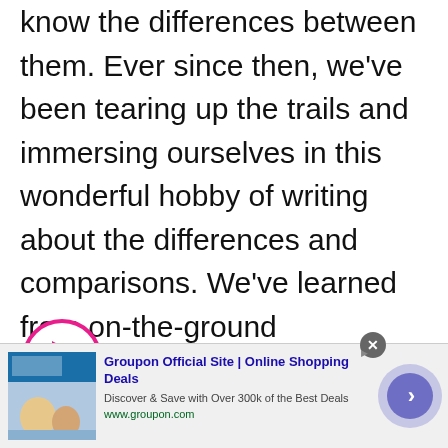know the differences between them. Ever since then, we've been tearing up the trails and immersing ourselves in this wonderful hobby of writing about the differences and comparisons. We've learned from on-the-ground experience about these terms specially the product comparisons. This is the site where we share everything we've learned.
[Figure (other): Pink/magenta outlined play button circle with a filled pink triangle pointing right, overlapping the last word of the text paragraph]
[Figure (other): Advertisement banner for Groupon Official Site showing online shopping deals. Includes thumbnail image of people, Groupon logo/screenshot, bold blue title text 'Groupon Official Site | Online Shopping Deals', description 'Discover & Save with Over 300k of the Best Deals', green URL 'www.groupon.com', a close button (X in grey circle), and a blue/purple circular arrow button on the right.]